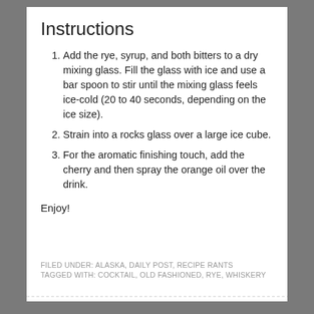Instructions
Add the rye, syrup, and both bitters to a dry mixing glass. Fill the glass with ice and use a bar spoon to stir until the mixing glass feels ice-cold (20 to 40 seconds, depending on the ice size).
Strain into a rocks glass over a large ice cube.
For the aromatic finishing touch, add the cherry and then spray the orange oil over the drink.
Enjoy!
FILED UNDER: ALASKA, DAILY POST, RECIPE RANTS
TAGGED WITH: COCKTAIL, OLD FASHIONED, RYE, WHISKERY